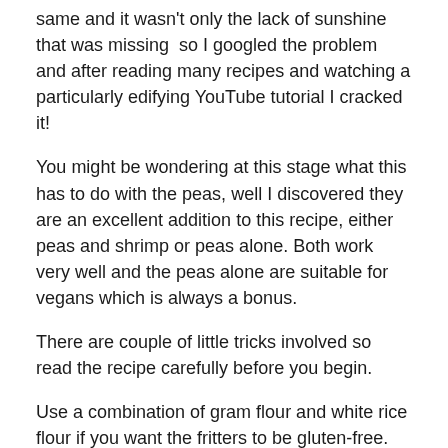same and it wasn't only the lack of sunshine that was missing  so I googled the problem and after reading many recipes and watching a particularly edifying YouTube tutorial I cracked it!
You might be wondering at this stage what this has to do with the peas, well I discovered they are an excellent addition to this recipe, either peas and shrimp or peas alone. Both work very well and the peas alone are suitable for vegans which is always a bonus.
There are couple of little tricks involved so read the recipe carefully before you begin.
Use a combination of gram flour and white rice flour if you want the fritters to be gluten-free. The water needs to be chilled and sparkling gives the best results